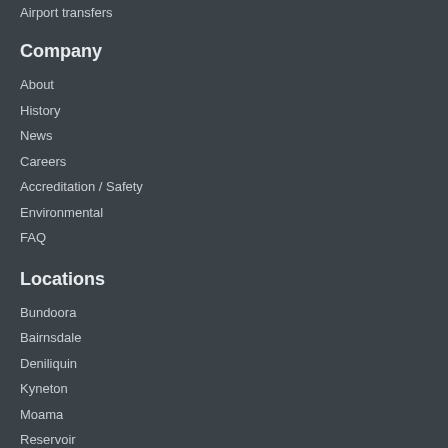Airport transfers
Company
About
History
News
Careers
Accreditation / Safety
Environmental
FAQ
Locations
Bundoora
Bairnsdale
Deniliquin
Kyneton
Moama
Reservoir
Sale
Shepparton
Wangaratta
Wodonga